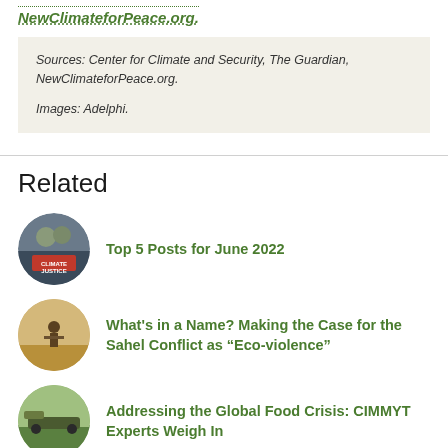NewClimateforPeace.org.
Sources: Center for Climate and Security, The Guardian, NewClimateforPeace.org.

Images: Adelphi.
Related
[Figure (photo): Circular thumbnail of people holding a Climate Justice sign]
Top 5 Posts for June 2022
[Figure (photo): Circular thumbnail of a person walking in a dry Sahel landscape]
What's in a Name? Making the Case for the Sahel Conflict as “Eco-violence”
[Figure (photo): Circular thumbnail of agricultural machinery/tractor in a field]
Addressing the Global Food Crisis: CIMMYT Experts Weigh In